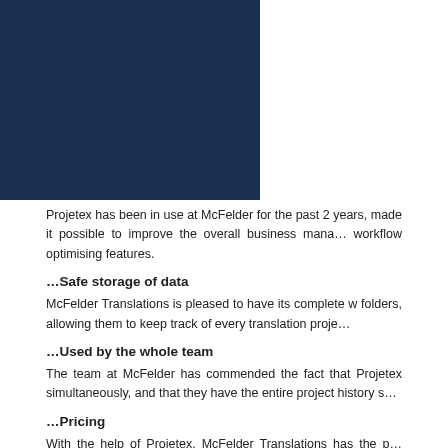[Figure (other): Top banner with dark navy blue background on the left side and a quote box on the right with text 'Translators' invoices are created in Projetex']
Projetex has been in use at McFelder for the past 2 years, made it possible to improve the overall business management and workflow optimising features.
…Safe storage of data
McFelder Translations is pleased to have its complete work in folders, allowing them to keep track of every translation project.
…Used by the whole team
The team at McFelder has commended the fact that Projetex simultaneously, and that they have the entire project history s
…Pricing
With the help of Projetex, McFelder Translations has the pricing at fingertips, allowing quotes and invoices to be prepared quickly. Projetex also enables the quality control auditor to follow...